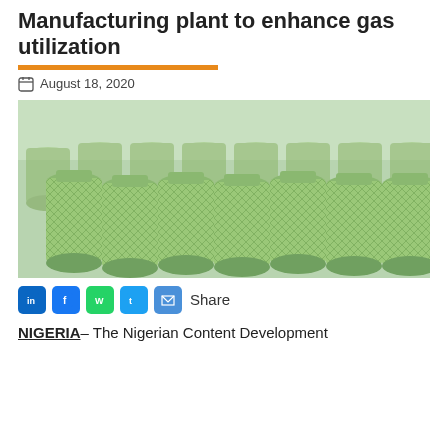Manufacturing plant to enhance gas utilization
August 18, 2020
[Figure (photo): Green LPG gas cylinders stacked in rows inside a warehouse, all wrapped in green protective netting]
Share
NIGERIA– The Nigerian Content Development